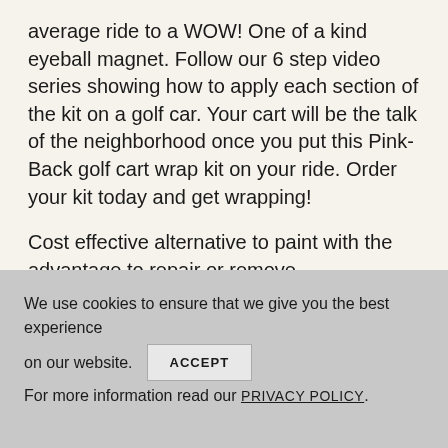average ride to a WOW! One of a kind eyeball magnet. Follow our 6 step video series showing how to apply each section of the kit on a golf car. Your cart will be the talk of the neighborhood once you put this Pink-Back golf cart wrap kit on your ride. Order your kit today and get wrapping!
Cost effective alternative to paint with the advantage to repair or remove.
We use cookies to ensure that we give you the best experience on our website. ACCEPT For more information read our PRIVACY POLICY.